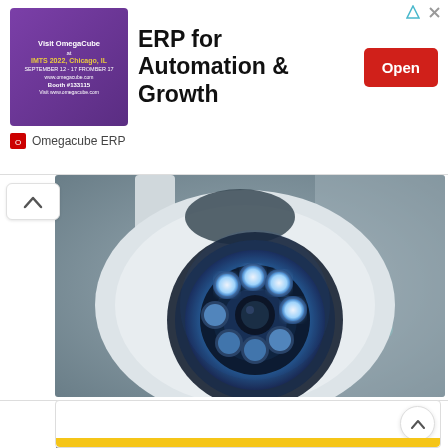[Figure (screenshot): Advertisement banner: purple thumbnail with text 'Visit OmegaCube at IMTS 2022, Chicago, IL September 12–17 Booth #133115', headline 'ERP for Automation & Growth', red Open button, Omegacube ERP attribution, triangle and X close icons.]
[Figure (photo): Close-up photo of a white dome security camera with ring of blue/white LED lights on the front lens, mounted against a neutral gray background.]
New Light Bulb Camera for Both Monitoring and Lighting.
PureCare
[Figure (screenshot): Partial bottom ad box with a yellow bar at the bottom, scroll-up chevron button at bottom right.]